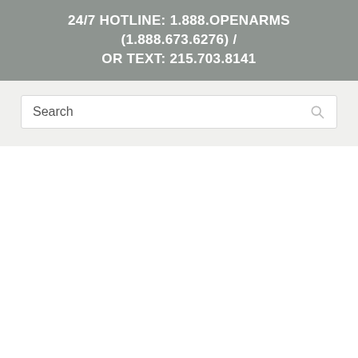24/7 HOTLINE: 1.888.OPENARMS (1.888.673.6276) / OR TEXT: 215.703.8141
Search